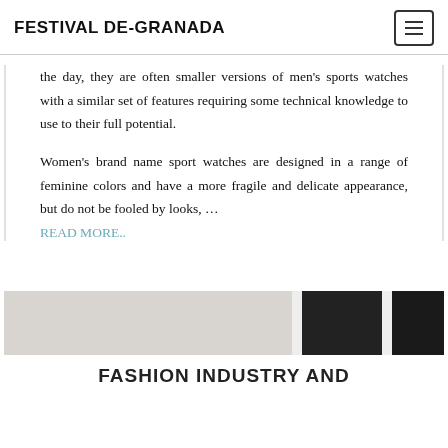FESTIVAL DE-GRANADA
the day, they are often smaller versions of men's sports watches with a similar set of features requiring some technical knowledge to use to their full potential.
Women's brand name sport watches are designed in a range of feminine colors and have a more fragile and delicate appearance, but do not be fooled by looks, …
READ MORE..
[Figure (photo): Partial view of what appears to be dark clothing or accessories on a light background, cropped image strip]
FASHION INDUSTRY AND